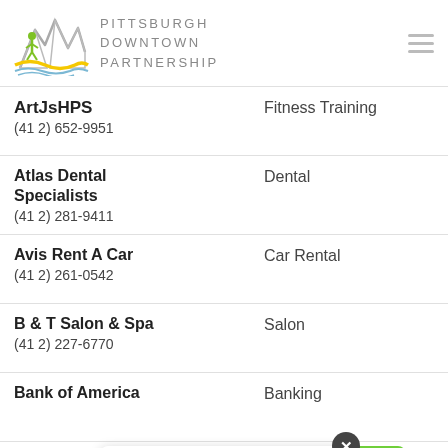[Figure (logo): Pittsburgh Downtown Partnership logo with mountain/bridge outline, green figure, yellow and blue waves]
ArtJsHPS (partial)
(412) 652-9951 | Fitness Training
Atlas Dental Specialists
(412) 281-9411 | Dental
Avis Rent A Car
(412) 261-0542 | Car Rental
B & T Salon & Spa
(412) 227-6770 | Salon
Bank of America | Banking
Banner Coin Exchange Inc.
(412) 261-5696 | Watches
Help us improve by sharing your feedback.